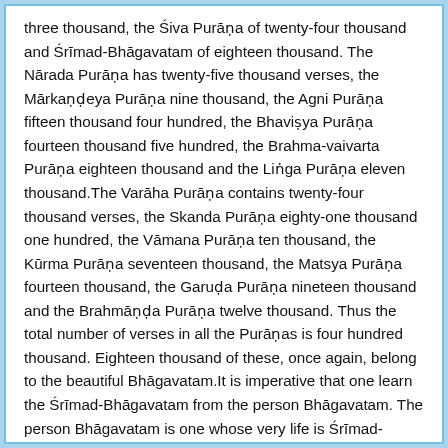three thousand, the Śiva Purāṇa of twenty-four thousand and Śrīmad-Bhāgavatam of eighteen thousand. The Nārada Purāṇa has twenty-five thousand verses, the Mārkaṇḍeya Purāṇa nine thousand, the Agni Purāṇa fifteen thousand four hundred, the Bhaviṣya Purāṇa fourteen thousand five hundred, the Brahma-vaivarta Purāṇa eighteen thousand and the Liṅga Purāṇa eleven thousand.The Varāha Purāṇa contains twenty-four thousand verses, the Skanda Purāṇa eighty-one thousand one hundred, the Vāmana Purāṇa ten thousand, the Kūrma Purāṇa seventeen thousand, the Matsya Purāṇa fourteen thousand, the Garuḍa Purāṇa nineteen thousand and the Brahmāṇḍa Purāṇa twelve thousand. Thus the total number of verses in all the Purāṇas is four hundred thousand. Eighteen thousand of these, once again, belong to the beautiful Bhāgavatam.It is imperative that one learn the Śrīmad-Bhāgavatam from the person Bhāgavatam. The person Bhāgavatam is one whose very life is Śrīmad-Bhāgavatam in practice. Since Śrī Caitanya Mahāprabhu, the Absolute Personality of Godhead...